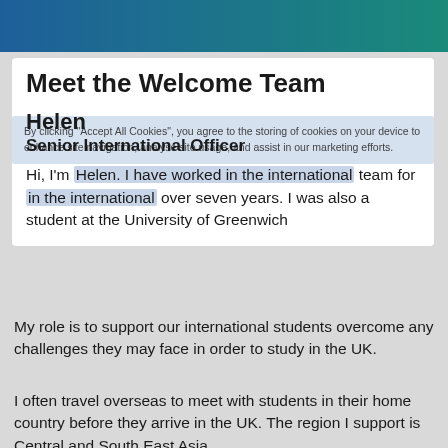Meet the Welcome Team
By clicking "Accept All Cookies", you agree to the storing of cookies on your device to enhance site navigation, analyse site usage, and assist in our marketing efforts.
Helen
Senior International Officer
Hi, I'm Helen. I have worked in the international team for over seven years. I was also a student at the University of Greenwich
My role is to support our international students overcome any challenges they may face in order to study in the UK.
I often travel overseas to meet with students in their home country before they arrive in the UK. The region I support is Central and South East Asia.